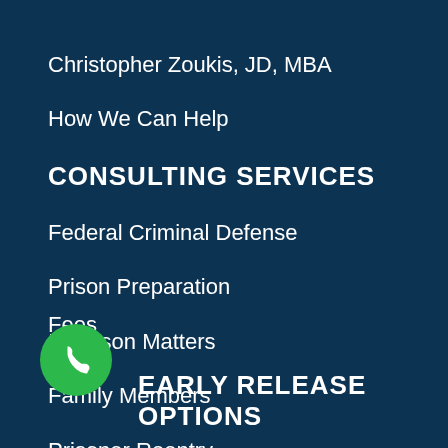Christopher Zoukis, JD, MBA
How We Can Help
CONSULTING SERVICES
Federal Criminal Defense
Prison Preparation
In-Prison Matters
Family Members
Prisoner Reentry
Fees
[Figure (illustration): Green circular phone/call icon button]
EARLY RELEASE OPTIONS